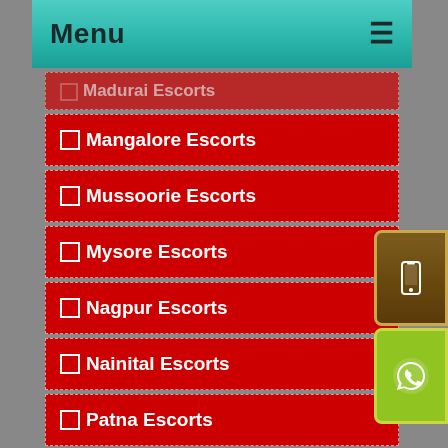Menu
Madurai Escorts
Mangalore Escorts
Mussoorie Escorts
Mysore Escorts
Nagpur Escorts
Nainital Escorts
Patna Escorts
Pondicherry Escorts
Puri Escorts
Ranchi Escorts
Rishikesh Escorts